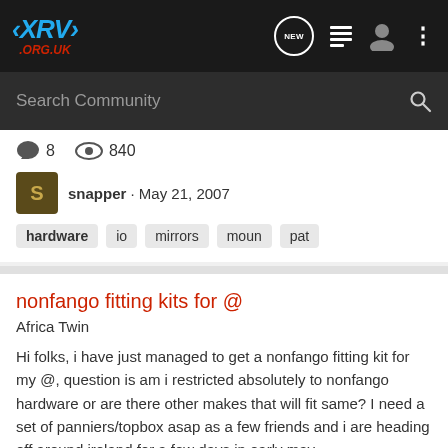XRV .ORG.UK — navigation bar with NEW, list, user, menu icons
Search Community
8   840
snapper · May 21, 2007
hardware   io   mirrors   moun   pat
nonfango fitting kits for @
Africa Twin
Hi folks, i have just managed to get a nonfango fitting kit for my @, question is am i restricted absolutely to nonfango hardware or are there other makes that will fit same? I need a set of panniers/topbox asap as a few friends and i are heading off around ireland for a few days in early may...
7   5K
moses · Apr 3, 2007